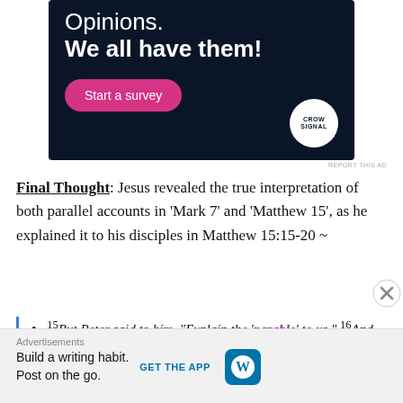[Figure (screenshot): Advertisement banner with dark navy background showing 'Opinions. We all have them!' with a pink 'Start a survey' button and CrowdSignal logo]
REPORT THIS AD
Final Thought: Jesus revealed the true interpretation of both parallel accounts in 'Mark 7' and 'Matthew 15', as he explained it to his disciples in Matthew 15:15-20 ~
15But Peter said to him, "Explain the 'parable' to us." 16And he said, "Are you also still without
[Figure (screenshot): Bottom advertisement bar with WordPress logo: 'Build a writing habit. Post on the go.' with GET THE APP button]